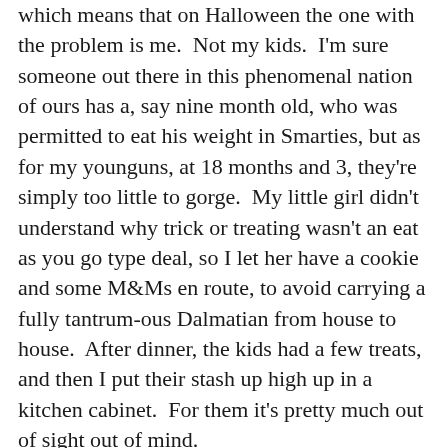which means that on Halloween the one with the problem is me.  Not my kids.  I'm sure someone out there in this phenomenal nation of ours has a, say nine month old, who was permitted to eat his weight in Smarties, but as for my younguns, at 18 months and 3, they're simply too little to gorge.  My little girl didn't understand why trick or treating wasn't an eat as you go type deal, so I let her have a cookie and some M&Ms en route, to avoid carrying a fully tantrum-ous Dalmatian from house to house.  After dinner, the kids had a few treats, and then I put their stash up high up in a kitchen cabinet.  For them it's pretty much out of sight out of mind.
But not for me.
Everyone who knows me knows that I heart candy.  Chocolate's okay, but what I like is CANDY- Twizzlers, Mike and Ikes, jelly beans and gummy bears.  It is a wonder I have a tooth in my head and don't weigh 300 lbs. If someone could somehow get the vitamins and